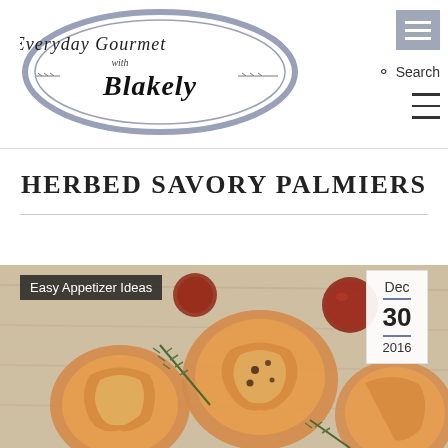[Figure (logo): Everyday Gourmet with Blakely logo in an oval shape with decorative branches]
[Figure (screenshot): Navigation icons: hamburger menu box (gray), search icon with text 'Search', and horizontal lines menu icon]
HERBED SAVORY PALMIERS
[Figure (photo): Food photo showing herbed savory palmiers (puff pastry cookies) with roasted tomatoes and herbs on a wooden board. Category badge reads 'Easy Appetizer Ideas'. Date box shows Dec 30 2016.]
Easy Appetizer Ideas
Dec 30 2016